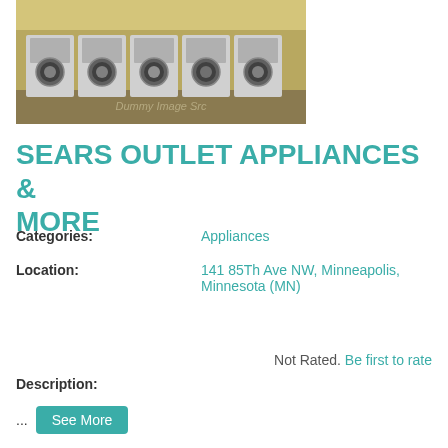[Figure (photo): Photo of a row of washing machines in a laundromat/appliance store setting, with a dummy image watermark visible]
SEARS OUTLET APPLIANCES & MORE
Categories: Appliances
Location: 141 85Th Ave NW, Minneapolis, Minnesota (MN)
Not Rated. Be first to rate
Description:
... See More